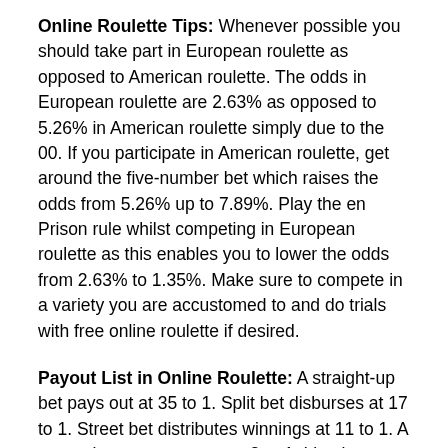Online Roulette Tips: Whenever possible you should take part in European roulette as opposed to American roulette. The odds in European roulette are 2.63% as opposed to 5.26% in American roulette simply due to the 00. If you participate in American roulette, get around the five-number bet which raises the odds from 5.26% up to 7.89%. Play the en Prison rule whilst competing in European roulette as this enables you to lower the odds from 2.63% to 1.35%. Make sure to compete in a variety you are accustomed to and do trials with free online roulette if desired.
Payout List in Online Roulette: A straight-up bet pays out at 35 to 1. Split bet disburses at 17 to 1. Street bet distributes winnings at 11 to 1. A corner bet compensates at 8 to 1. Line bet distributes winnings at 5 to 1. Five number bet pays out at 6 to 1. Odd or even bet pays out at 1 to 1. Red or black bet distributes winnings at 1 to 1. A high or low bet pays out at 1 to 1. Column bet disburses at 2 to 1. Dozen bet pays out at 2...